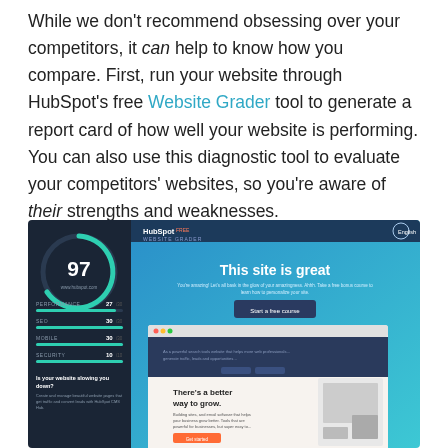While we don't recommend obsessing over your competitors, it can help to know how you compare. First, run your website through HubSpot's free Website Grader tool to generate a report card of how well your website is performing. You can also use this diagnostic tool to evaluate your competitors' websites, so you're aware of their strengths and weaknesses.
[Figure (screenshot): Screenshot of HubSpot Website Grader tool showing a score of 97 for www.hubspot.com with performance score 27, SEO 30, Mobile 30, Security 10 on the left dark panel, and on the right a blue gradient panel saying 'This site is great' with a Start a free course button, and below a website mockup showing 'There's a better way to grow.']